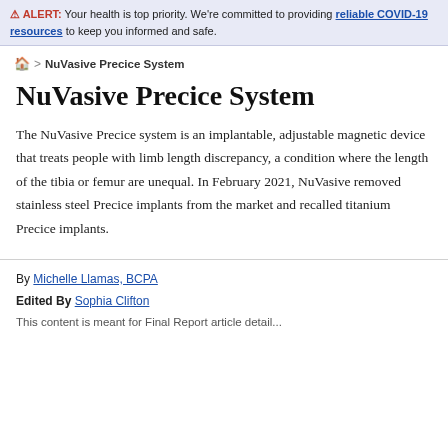ALERT: Your health is top priority. We're committed to providing reliable COVID-19 resources to keep you informed and safe.
🏠 > NuVasive Precice System
NuVasive Precice System
The NuVasive Precice system is an implantable, adjustable magnetic device that treats people with limb length discrepancy, a condition where the length of the tibia or femur are unequal. In February 2021, NuVasive removed stainless steel Precice implants from the market and recalled titanium Precice implants.
By Michelle Llamas, BCPA
Edited By Sophia Clifton
This content is meant for Final Report article detail